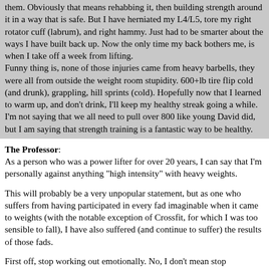them. Obviously that means rehabbing it, then building strength around it in a way that is safe. But I have herniated my L4/L5, tore my right rotator cuff (labrum), and right hammy. Just had to be smarter about the ways I have built back up. Now the only time my back bothers me, is when I take off a week from lifting. Funny thing is, none of those injuries came from heavy barbells, they were all from outside the weight room stupidity. 600+lb tire flip cold (and drunk), grappling, hill sprints (cold). Hopefully now that I learned to warm up, and don't drink, I'll keep my healthy streak going a while. I'm not saying that we all need to pull over 800 like young David did, but I am saying that strength training is a fantastic way to be healthy.
The Professor: As a person who was a power lifter for over 20 years, I can say that I'm personally against anything "high intensity" with heavy weights.
This will probably be a very unpopular statement, but as one who suffers from having participated in every fad imaginable when it came to weights (with the notable exception of Crossfit, for which I was too sensible to fall), I have also suffered (and continue to suffer) the results of those fads.
First off, stop working out emotionally. No, I don't mean stop...